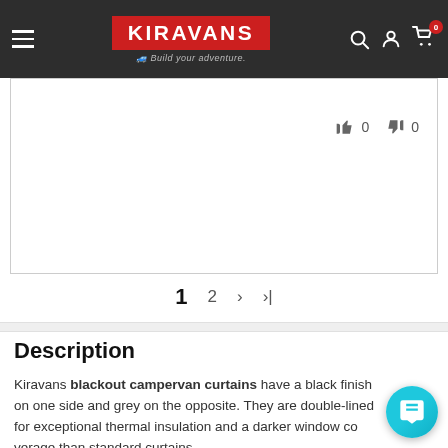KIRAVANS — Build your adventure.
👍 0  👎 0
1  2  ›  ›|
Description
Kiravans blackout campervan curtains have a black finish on one side and grey on the opposite. They are double-lined for exceptional thermal insulation and a darker window coverage than standard curtains.